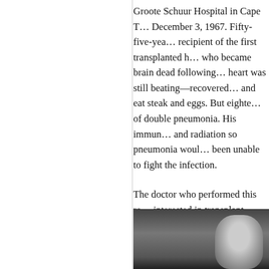Groote Schuur Hospital in Cape T… December 3, 1967. Fifty-five-yea… recipient of the first transplanted h… who became brain dead following… heart was still beating—recovered… and eat steak and eggs. But eighte… of double pneumonia. His immun… and radiation so pneumonia woul… been unable to fight the infection.
The doctor who performed this re… interested in transplant procedure… was born and raised in the South A… his excellent academic
[Figure (photo): Black and white photograph of a man, partially visible, appearing to be seated, shown from roughly the shoulders up.]